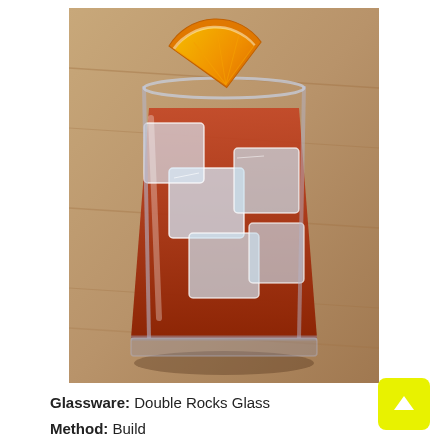[Figure (photo): A cocktail in a square double rocks glass filled with ice cubes and a deep red/orange liquid, garnished with an orange slice on the rim, placed on a wooden surface.]
Glassware: Double Rocks Glass
Method: Build